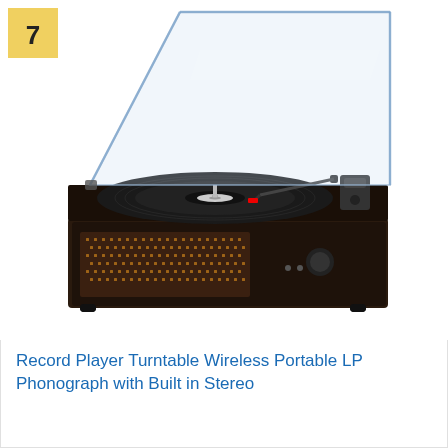[Figure (photo): A vintage-style record player turntable with a transparent acrylic dust cover open, a black vinyl record on the platter, a tonearm with red needle, and a dark brown wooden base with a woven speaker grille on the front and volume knob controls. Number 7 badge in upper left corner.]
Record Player Turntable Wireless Portable LP Phonograph with Built in Stereo